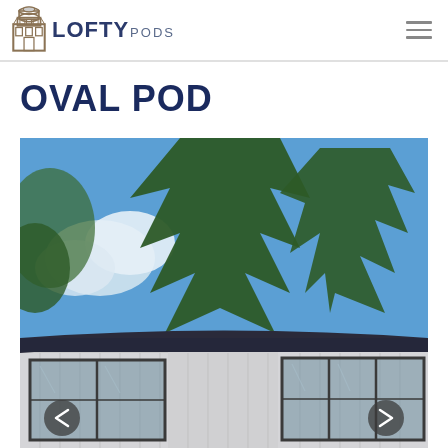LOFTY PODS
OVAL POD
[Figure (photo): Exterior photo of a building called Oval Pod with large glass sliding windows and a curved roofline, with tall green trees and blue sky in the background. Carousel navigation arrows visible on left and right sides.]